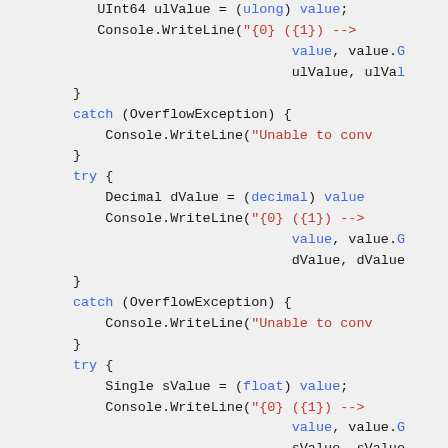Code snippet showing C# try/catch blocks with type conversions and Console.WriteLine calls